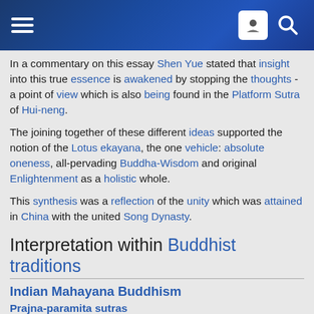Wikipedia page header with hamburger menu, user icon, and search icon
In a commentary on this essay Shen Yue stated that insight into this true essence is awakened by stopping the thoughts - a point of view which is also being found in the Platform Sutra of Hui-neng.
The joining together of these different ideas supported the notion of the Lotus ekayana, the one vehicle: absolute oneness, all-pervading Buddha-Wisdom and original Enlightenment as a holistic whole.
This synthesis was a reflection of the unity which was attained in China with the united Song Dynasty.
Interpretation within Buddhist traditions
Indian Mahayana Buddhism
Prajna-paramita sutras
The Prajna-paramita sutras, which emerged from the first century BCE on, reject the idea of an eternal self or underlying essence.